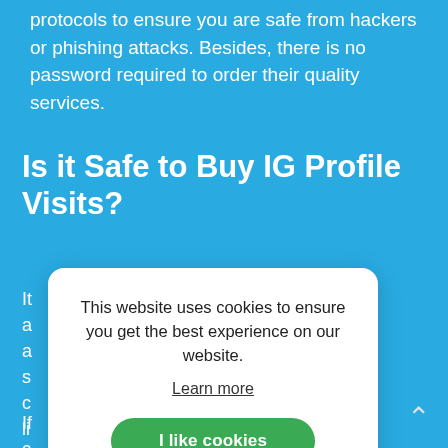protocols to ensure you are safe from hackers or phishing attacks. Besides, there is no password required to order their quality services.
Is it Safe to Buy IG Profile Visits?
It ... long a... ons a... hat s... of c... ails li...
[Figure (screenshot): Cookie consent popup modal with text 'This website uses cookies to ensure you get the best experience on our website.' and a 'Learn more' link and a green 'I like cookies' button]
If ... visits c... on't give out vital personal information like your